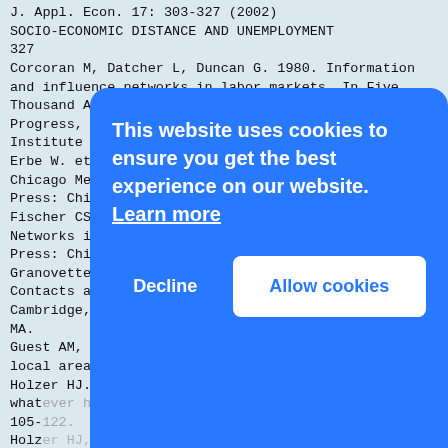J. Appl. Econ. 17: 303-327 (2002)
SOCIO-ECONOMIC DISTANCE AND UNEMPLOYMENT
327
Corcoran M, Datcher L, Duncan G. 1980. Information and influence networks in labor markets. In Five Thousand American Families: Patterns of Economic Progress, Vol. 7, Duncan G, Morgan J (eds). Institute For Social Research: Ann Arbor, MI; 1-37.
Erbe W. et al. 1984. Local Community Fact Book: Chicago Metropolitan Area. The University of Chicago Press: Chicago.
Fischer CS. 1982. To Dwell among Friends: Personal Networks in Town and City. The University of Chicago Press: Chicago.
Granovetter MS. 1995. Getting a Job: A Study of Contacts and Careers. Harvard University Press: Cambridge, MA.
Guest AM, Lee BA. 1983. The social organization of local areas. Urban Affairs Quarterly 19: 217-240.
Holzer HJ. 1991. The spatial mismatch hypothesis: what has the evidence shown? Urban Studies 28: 105-122.
Holzer HJ, Ihlanfeldt KR, Sjoquist DL. 1994. Work, search, and travel among white and black youth. Journal of Urban Economics 35: 320-345.
Hunt MO. 1996. The individual, neighborhood, and status attainment: Neighborhood influences on attainment. Sociological Forum... University...
Ihlanfeldt KR, Sjoquist DL. 1989. The impact of job decentralization on the economic welfare of central city blacks. Urban Economics... American Economic Review 80: 267-276.
Ihlanfeldt KR, Sjoquist DL. 1991. The effect of job...
[Figure (screenshot): Cookie consent overlay banner with blue background. Text reads: 'This website uses cookies to ensure you get the best experience on our website. Learn more'. Two buttons: 'Decline' (white text on blue) and 'Allow cookies' (blue text on white).]